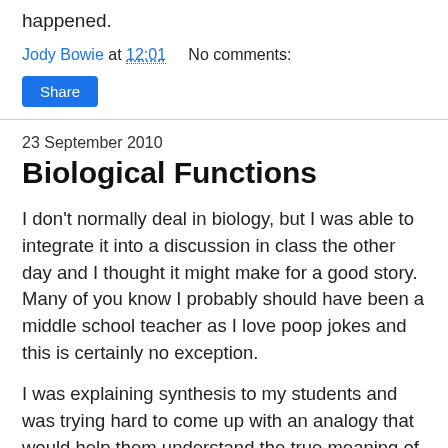happened.
Jody Bowie at 12:01    No comments:
Share
23 September 2010
Biological Functions
I don't normally deal in biology, but I was able to integrate it into a discussion in class the other day and I thought it might make for a good story. Many of you know I probably should have been a middle school teacher as I love poop jokes and this is certainly no exception.
I was explaining synthesis to my students and was trying hard to come up with an analogy that would help them understand the true meaning of it. We were reading a chapter from the physics book and I was wanted students to not simply summarize what they were reading. I was asking them to make it their own writing. (in case you are